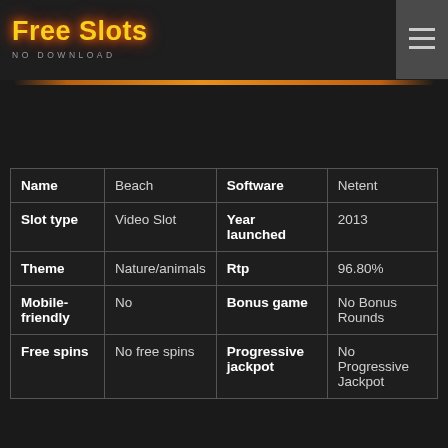Free Slots NO DOWNLOAD
| Name | Beach | Software | Netent |
| Slot type | Video Slot | Year launched | 2013 |
| Theme | Nature/animals | Rtp | 96.80% |
| Mobile-friendly | No | Bonus game | No Bonus Rounds |
| Free spins | No free spins | Progressive jackpot | No Progressive Jackpot |